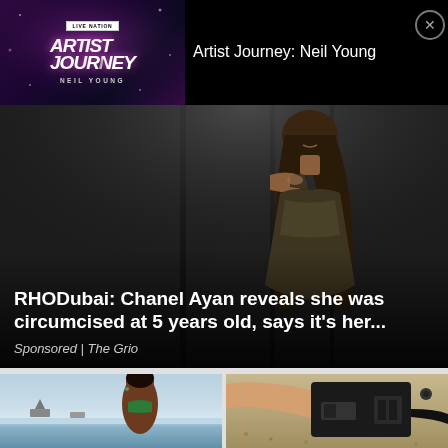[Figure (screenshot): Live Nation Artist Journey: Neil Young advertisement thumbnail with purple/dark gradient background, stylized 'ARTIST JOURNEY' text and 'NEIL YOUNG' label]
Artist Journey: Neil Young
[Figure (photo): Woman in an elegant off-shoulder gold/dark dress against a dark background, smiling]
RHODubai: Chanel Ayan reveals she was circumcised at 5 years old, says it's her...
Sponsored | The Grio
[Figure (photo): Woman at a beach with boats in the background]
[Figure (photo): Close-up of a person holding a black electrical plug/connector device]